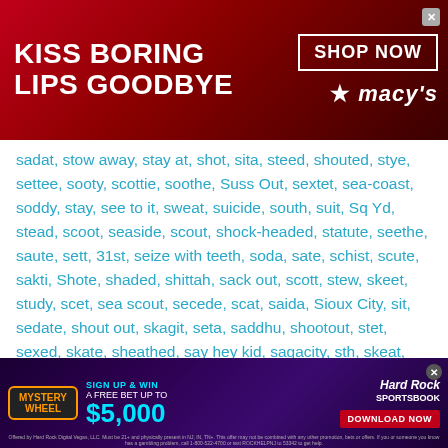[Figure (other): Macy's advertisement banner: 'KISS BORING LIPS GOODBYE' with SHOP NOW button and Macy's logo, featuring a woman with red lips]
sadat, stow away, stay at, shot, sita, steed, shouted, stye, settee, sooty, scottie, soothe, Suss Out, sextet, sea-coast, soddy, stay, see to it, sweat, suicide, south, suit, Sq Yd, stead, scoot, seaside, scout, shock-headed, statute, seethe, saute, sett, 31st, seize with teeth, soda, sate, schist, scute, sakti, Shote, shaded, shittah, sack out, scott, stew, skeet, study, scet, sea scout, secede, scat, saida, Sioux City, sit, sedate, shout out, skagit, seta, saddhu, shootout, stet, sexed, skate, sheathed, say hey kid, sagacity, sth, skeat, sewed, society, sittidae, statue.
Advertisement
[Figure (other): Hard Rock Sportsbook advertisement: Mystery Wheel - Sign Up & Win A Free Bet Up To $5,000, with Download Now button]